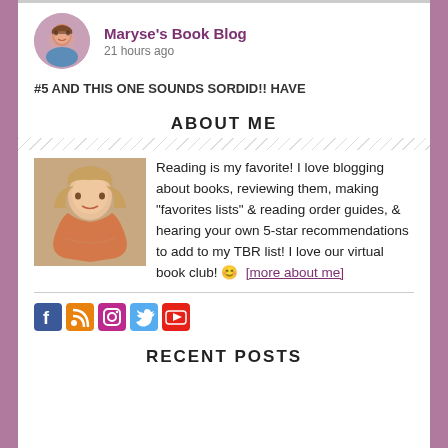Maryse's Book Blog · 21 hours ago
#5 AND THIS ONE SOUNDS SORDID!! HAVE
ABOUT ME
[Figure (photo): Photo of a smiling woman with long blonde/brown hair, wearing a hat, for the About Me section.]
Reading is my favorite! I love blogging about books, reviewing them, making "favorites lists" & reading order guides, & hearing your own 5-star recommendations to add to my TBR list! I love our virtual book club! 😊  [more about me]
[Figure (infographic): Row of social media icons: Facebook, RSS, Instagram, Twitter, YouTube]
RECENT POSTS